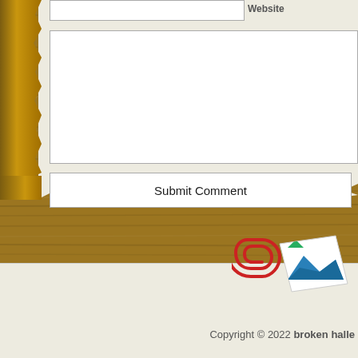[Figure (screenshot): Website form interface showing a website input field at the top, a large empty textarea for comment input, and a Submit Comment button, all on a cream/beige notebook-style background with a wood texture background and torn paper edges. A red paperclip and photo/stamp decoration appear at the bottom near a lower card section.]
Website
Submit Comment
Copyright © 2022 broken halle